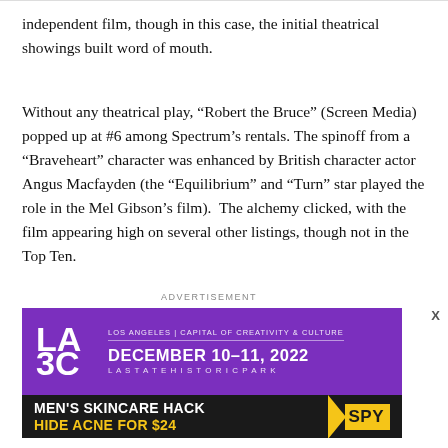independent film, though in this case, the initial theatrical showings built word of mouth.
Without any theatrical play, “Robert the Bruce” (Screen Media) popped up at #6 among Spectrum’s rentals. The spinoff from a “Braveheart” character was enhanced by British character actor Angus Macfayden (the “Equilibrium” and “Turn” star played the role in the Mel Gibson’s film). The alchemy clicked, with the film appearing high on several other listings, though not in the Top Ten.
ADVERTISEMENT
[Figure (illustration): LA3C event advertisement banner: purple background with LA3C logo, text reading LOS ANGELES | CAPITAL OF CREATIVITY & CULTURE, DECEMBER 10-11, 2022, LA STATE HISTORIC PARK]
[Figure (advertisement): SPY advertisement: dark background with yellow text reading MEN'S SKINCARE HACK HIDE ACNE FOR $24 with SPY logo]